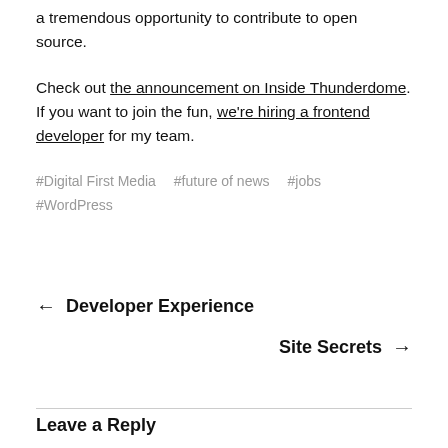a tremendous opportunity to contribute to open source.
Check out the announcement on Inside Thunderdome. If you want to join the fun, we're hiring a frontend developer for my team.
#Digital First Media   #future of news   #jobs
#WordPress
← Developer Experience
Site Secrets →
Leave a Reply